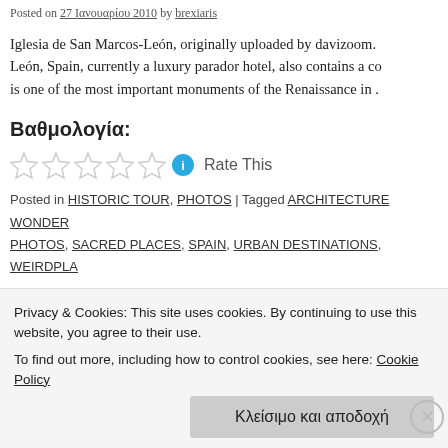Posted on 27 Ιανουαρίου 2010 by brexiaris
Iglesia de San Marcos-León, originally uploaded by davizoom. León, Spain, currently a luxury parador hotel, also contains a co is one of the most important monuments of the Renaissance in .
Βαθμολογία:
Rate This
Posted in HISTORIC TOUR, PHOTOS | Tagged ARCHITECTURE WONDER PHOTOS, SACRED PLACES, SPAIN, URBAN DESTINATIONS, WEIRDPLA
Els colors de La Vila Joiosa – Alacant, Va
Privacy & Cookies: This site uses cookies. By continuing to use this website, you agree to their use.
To find out more, including how to control cookies, see here: Cookie Policy
Κλείσιμο και αποδοχή